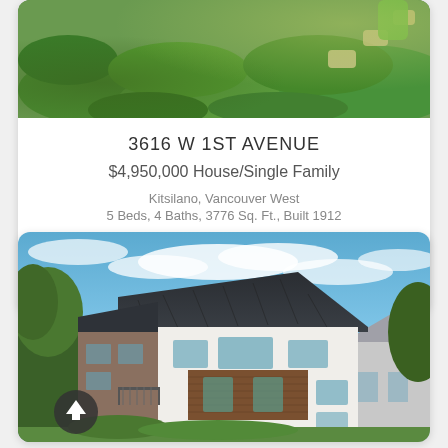[Figure (photo): Top portion of a real estate listing card showing a green landscaped yard/garden with stepping stones]
3616 W 1ST AVENUE
$4,950,000 House/Single Family
Kitsilano, Vancouver West
5 Beds, 4 Baths, 3776 Sq. Ft., Built 1912
[Figure (logo): Home/house icon in a rounded square border]
Oakwyn Realty Ltd. (R2713907)
[Figure (photo): Modern two-story house with dark metal roof, white stucco and wood panel exterior, large windows, under blue sky with clouds]